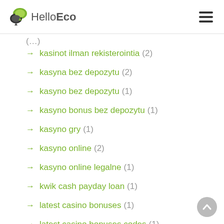HelloEco
→ kasinot ilman rekisterointia (2)
→ kasyna bez depozytu (2)
→ kasyno bez depozytu (1)
→ kasyno bonus bez depozytu (1)
→ kasyno gry (1)
→ kasyno online (2)
→ kasyno online legalne (1)
→ kwik cash payday loan (1)
→ latest casino bonuses (1)
→ latest casino bonuses codes (1)
→ legit payday loans online (2)
→ lendgreen loans (1)
→ lendgreen payday loans (1)